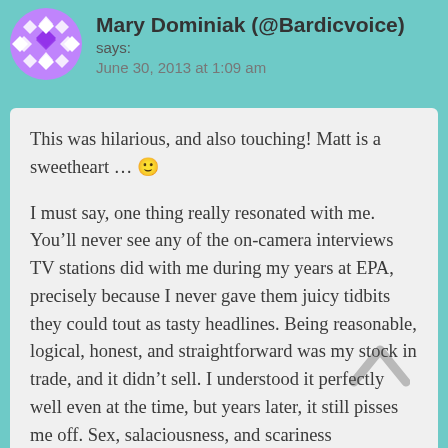[Figure (illustration): Purple geometric diamond-pattern avatar icon for user Mary Dominiak]
Mary Dominiak (@Bardicvoice) says:
June 30, 2013 at 1:09 am
This was hilarious, and also touching! Matt is a sweetheart ... 🙂

I must say, one thing really resonated with me. You'll never see any of the on-camera interviews TV stations did with me during my years at EPA, precisely because I never gave them juicy tidbits they could tout as tasty headlines. Being reasonable, logical, honest, and straightforward was my stock in trade, and it didn't sell. I understood it perfectly well even at the time, but years later, it still pisses me off. Sex, salaciousness, and scariness